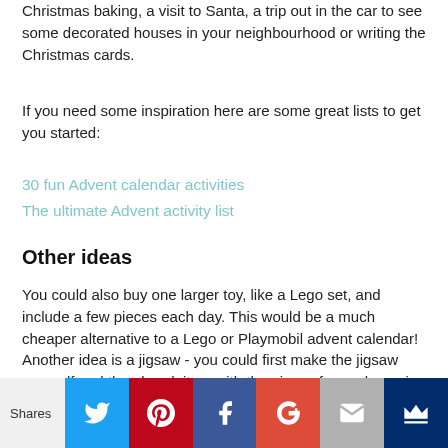Christmas baking, a visit to Santa, a trip out in the car to see some decorated houses in your neighbourhood or writing the Christmas cards.
If you need some inspiration here are some great lists to get you started:
30 fun Advent calendar activities
The ultimate Advent activity list
Other ideas
You could also buy one larger toy, like a Lego set, and include a few pieces each day. This would be a much cheaper alternative to a Lego or Playmobil advent calendar! Another idea is a jigsaw - you could first make the jigsaw yourself and then break it up with the pieces for each row in a separate box. Then the jigsaw will build up over Advent to reveal a festive picture.
[Figure (infographic): Social sharing bar with Twitter, Pinterest, Facebook, Google+, Email, and Crown icons]